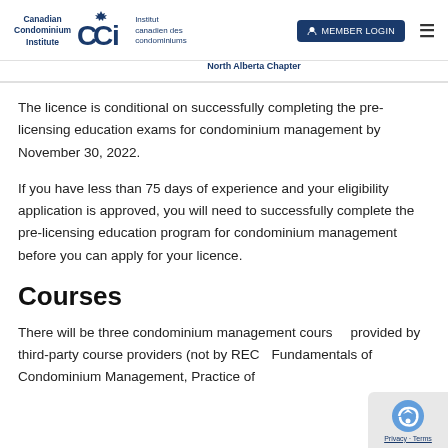[Figure (logo): Canadian Condominium Institute (CCI) North Alberta Chapter logo with blue text and maple leaf emblem]
The licence is conditional on successfully completing the pre-licensing education exams for condominium management by November 30, 2022.
If you have less than 75 days of experience and your eligibility application is approved, you will need to successfully complete the pre-licensing education program for condominium management before you can apply for your licence.
Courses
There will be three condominium management courses provided by third-party course providers (not by REC Fundamentals of Condominium Management, Practice of